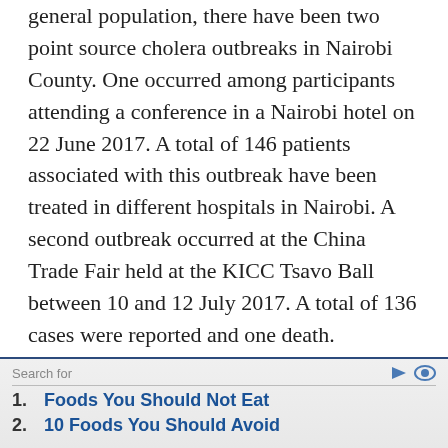general population, there have been two point source cholera outbreaks in Nairobi County. One occurred among participants attending a conference in a Nairobi hotel on 22 June 2017. A total of 146 patients associated with this outbreak have been treated in different hospitals in Nairobi. A second outbreak occurred at the China Trade Fair held at the KICC Tsavo Ball between 10 and 12 July 2017. A total of 136 cases were reported and one death.
1. Foods You Should Not Eat
2. 10 Foods You Should Avoid